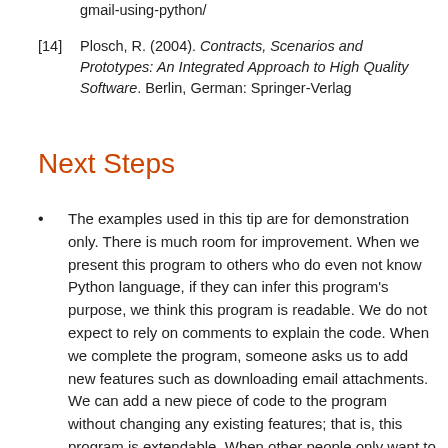gmail-using-python/
[14] Plosch, R. (2004). Contracts, Scenarios and Prototypes: An Integrated Approach to High Quality Software. Berlin, German: Springer-Verlag
Next Steps
The examples used in this tip are for demonstration only. There is much room for improvement. When we present this program to others who do even not know Python language, if they can infer this program's purpose, we think this program is readable. We do not expect to rely on comments to explain the code. When we complete the program, someone asks us to add new features such as downloading email attachments. We can add a new piece of code to the program without changing any existing features; that is, this program is extendable. When other people only want to enhance one function, such as adding error handling in the